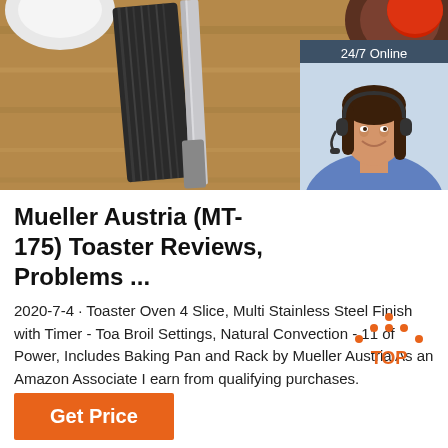[Figure (photo): Kitchen utensils including a knife and a grater on a wooden surface, with a white bowl visible. Partially overlaid by a chat support widget showing a woman with a headset.]
Mueller Austria (MT-175) Toaster Reviews, Problems ...
2020-7-4 · Toaster Oven 4 Slice, Multi Stainless Steel Finish with Timer - Toa Broil Settings, Natural Convection - 11 of Power, Includes Baking Pan and Rack by Mueller Austria As an Amazon Associate I earn from qualifying purchases.
[Figure (other): Back to top button with orange arrow icon and 'TOP' text]